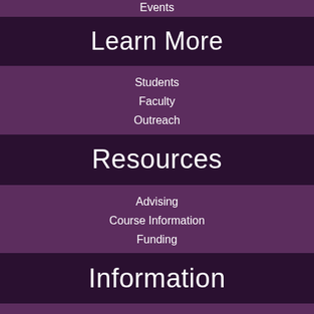Events
Learn More
Students
Faculty
Outreach
Resources
Advising
Course Information
Funding
Information
4104 Wesley W. Posvar Hall
230 South Bouquet Street
Pittsburgh, PA 15260
Phone: 412-648-7370
Fax: 412-624-4662
asia@pitt.edu